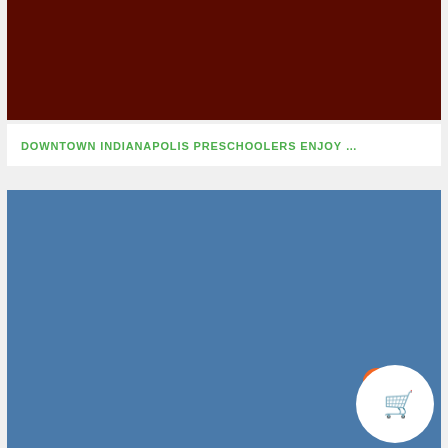[Figure (photo): Dark maroon/red colored rectangular image block at the top of the page]
DOWNTOWN INDIANAPOLIS PRESCHOOLERS ENJOY …
[Figure (photo): Steel blue rectangular image block in the lower portion of the page, with a scroll-to-top button overlay and a shopping cart floating action button with badge showing 0]